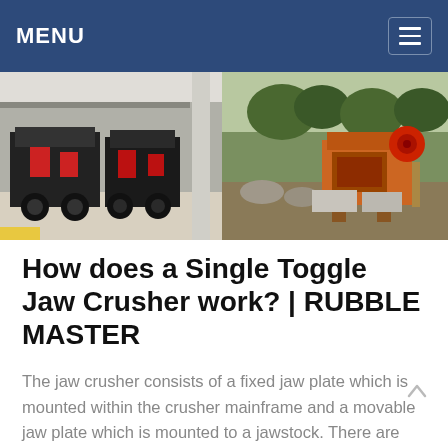MENU
[Figure (photo): Two photos side by side: left shows large black and red industrial jaw crushers in a factory/warehouse setting; right shows an orange jaw crusher machine outdoors on a hillside with trees and rocks.]
How does a Single Toggle Jaw Crusher work? | RUBBLE MASTER
The jaw crusher consists of a fixed jaw plate which is mounted within the crusher mainframe and a movable jaw plate which is mounted to a jawstock. There are cheek plates mounted on the insides of the crusher to act as additional wear parts to protect the crusher mainframe. The two jaw plates are positioned in a V-shape so that the space ...